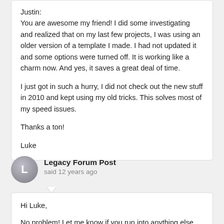Justin:
You are awesome my friend! I did some investigating and realized that on my last few projects, I was using an older version of a template I made. I had not updated it and some options were turned off. It is working like a charm now. And yes, it saves a great deal of time.

I just got in such a hurry, I did not check out the new stuff in 2010 and kept using my old tricks. This solves most of my speed issues.

Thanks a ton!

Luke
Legacy Forum Post
said 12 years ago
Hi Luke,

No problem! Let me know if you run into anything else odd.